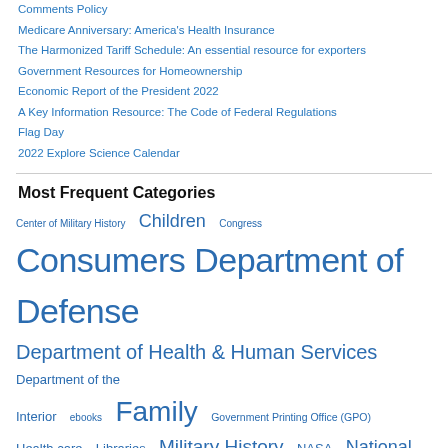Comments Policy
Medicare Anniversary: America's Health Insurance
The Harmonized Tariff Schedule: An essential resource for exporters
Government Resources for Homeownership
Economic Report of the President 2022
A Key Information Resource: The Code of Federal Regulations
Flag Day
2022 Explore Science Calendar
Most Frequent Categories
Center of Military History  Children  Congress  Consumers  Department of Defense  Department of Health & Human Services  Department of the Interior  ebooks  Family  Government Printing Office (GPO)  Health care  Libraries  Military History  NASA  National Park Service  Travel and Tourism  U.S. Army  U.S. History  U.S.